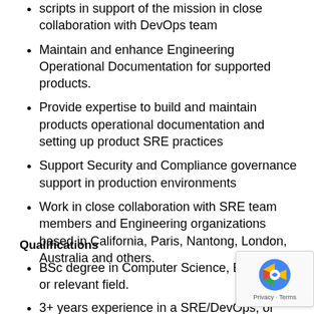scripts in support of the mission in close collaboration with DevOps team
Maintain and enhance Engineering Operational Documentation for supported products.
Provide expertise to build and maintain products operational documentation and setting up product SRE practices
Support Security and Compliance governance support in production environments
Work in close collaboration with SRE team members and Engineering organizations based in California, Paris, Nantong, London, Australia and others.
Qualifications
BSc degree in Computer Science, Engineering or relevant field.
3+ years experience in a SRE/DevOps, or equivalent